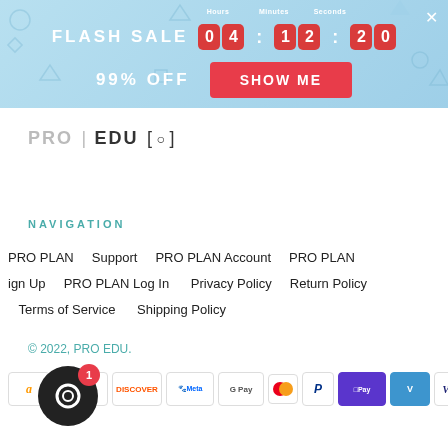[Figure (screenshot): Flash sale banner with countdown timer showing 04:12:20, 99% OFF text, and SHOW ME button on light blue background]
[Figure (logo): PRO EDU logo with camera aperture symbol]
NAVIGATION
PRO PLAN   Support   PRO PLAN Account   PRO PLAN Sign Up   PRO PLAN Log In   Privacy Policy   Return Policy   Terms of Service   Shipping Policy
© 2022, PRO EDU.
[Figure (infographic): Payment method icons: Amazon, Apple Pay, Discover, Meta Pay, Google Pay, Mastercard, PayPal, Shop Pay, Venmo, Visa]